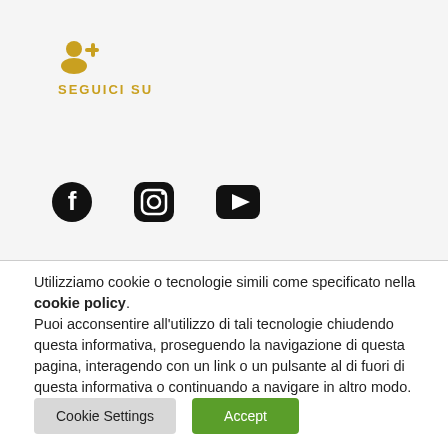[Figure (illustration): Orange/gold user-plus icon (person with a plus sign)]
SEGUICI SU
[Figure (illustration): Three social media icons: Facebook (circle with F), Instagram (rounded square camera), YouTube (rounded rectangle with play triangle)]
Utilizziamo cookie o tecnologie simili come specificato nella cookie policy.
Puoi acconsentire all'utilizzo di tali tecnologie chiudendo questa informativa, proseguendo la navigazione di questa pagina, interagendo con un link o un pulsante al di fuori di questa informativa o continuando a navigare in altro modo.
Cookie Settings
Accept